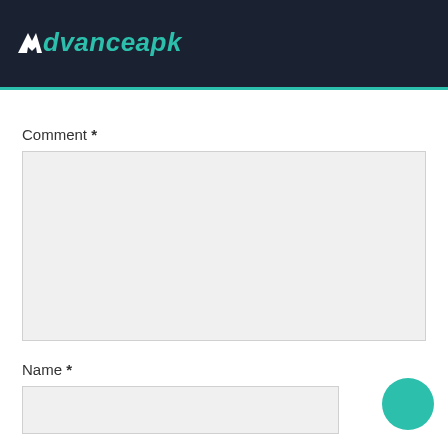Advanceapk
Comment *
[Figure (screenshot): Empty comment textarea input field with light gray background]
Name *
[Figure (screenshot): Empty name input field with light gray background]
Email *
[Figure (screenshot): Empty email input field with light gray background]
[Figure (other): Teal circular FAB button in bottom right corner]